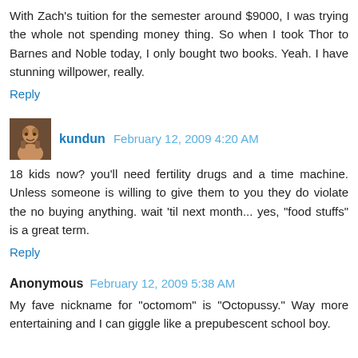With Zach's tuition for the semester around $9000, I was trying the whole not spending money thing. So when I took Thor to Barnes and Noble today, I only bought two books. Yeah. I have stunning willpower, really.
Reply
kundun  February 12, 2009 4:20 AM
18 kids now? you'll need fertility drugs and a time machine. Unless someone is willing to give them to you they do violate the no buying anything. wait 'til next month... yes, "food stuffs" is a great term.
Reply
Anonymous  February 12, 2009 5:38 AM
My fave nickname for "octomom" is "Octopussy." Way more entertaining and I can giggle like a prepubescent school boy.